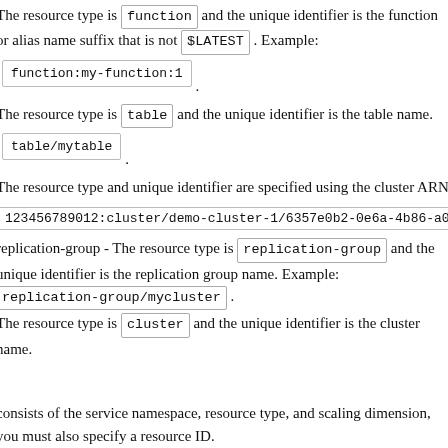The resource type is function and the unique identifier is the function or alias name suffix that is not $LATEST . Example:
function:my-function:1 .
The resource type is table and the unique identifier is the table name.
table/mytable .
The resource type and unique identifier are specified using the cluster ARN.
123456789012:cluster/demo-cluster-1/6357e0b2-0e6a-4b86-a0b...
replication-group - The resource type is replication-group and the unique identifier is the replication group name. Example: replication-group/mycluster .
The resource type is cluster and the unique identifier is the cluster name.
consists of the service namespace, resource type, and scaling dimension, you must also specify a resource ID.
the desired task count of an ECS service.
up:InstanceCount - The instance count of an EMR Instance...